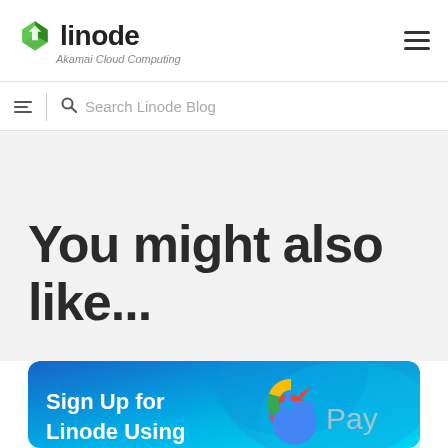Linode — Akamai Cloud Computing
Search Linode Blog
You might also like...
[Figure (illustration): Blue promotional card with 'Sign Up for Linode Using' text and Google Pay logo on the right side]